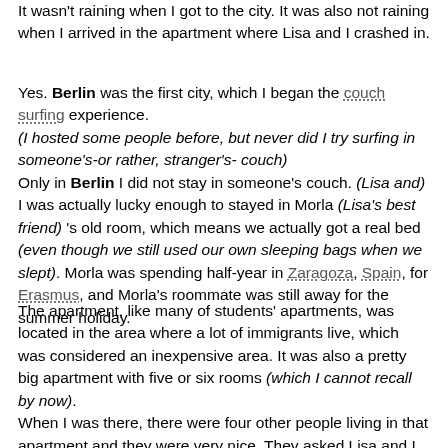It wasn't raining when I got to the city. It was also not raining when I arrived in the apartment where Lisa and I crashed in.
Yes. Berlin was the first city, which I began the couch surfing experience. (I hosted some people before, but never did I try surfing in someone's-or rather, stranger's- couch) Only in Berlin I did not stay in someone's couch. (Lisa and) I was actually lucky enough to stayed in Morla (Lisa's best friend) 's old room, which means we actually got a real bed (even though we still used our own sleeping bags when we slept). Morla was spending half-year in Zaragoza, Spain, for Erasmus, and Morla's roommate was still away for the summer holiday.
The apartment, like many of students' apartments, was located in the area where a lot of immigrants live, which was considered an inexpensive area. It was also a pretty big apartment with five or six rooms (which I cannot recall by now). When I was there, there were four other people living in that apartment and they were very nice. They asked Lisa and I to eat with them, allowed us to use their computer, and invited us to watched movie together. I felt very much welcomed.